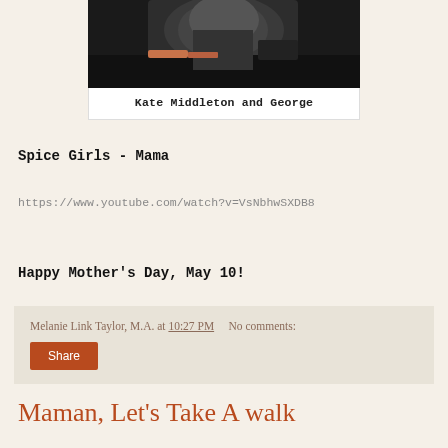[Figure (photo): Partial photo of Kate Middleton and George, cropped at top]
Kate Middleton and George
Spice Girls - Mama
https://www.youtube.com/watch?v=VsNbhwSXDB8
Happy Mother's Day, May 10!
Melanie Link Taylor, M.A. at 10:27 PM    No comments:
Share
Maman, Let's Take A walk